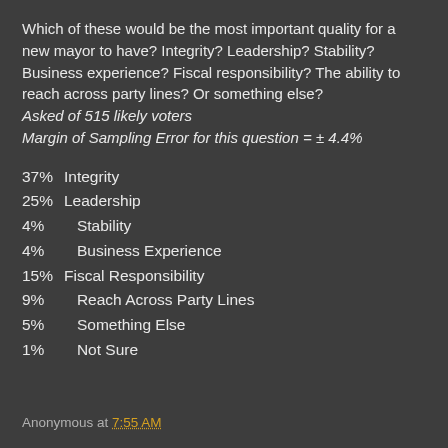Which of these would be the most important quality for a new mayor to have? Integrity? Leadership? Stability? Business experience? Fiscal responsibility? The ability to reach across party lines? Or something else?
Asked of 515 likely voters
Margin of Sampling Error for this question = ± 4.4%
37%  Integrity
25%  Leadership
4%    Stability
4%    Business Experience
15%  Fiscal Responsibility
9%    Reach Across Party Lines
5%    Something Else
1%    Not Sure
Anonymous at 7:55 AM